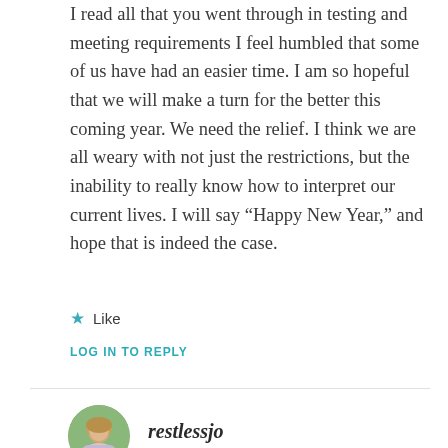I read all that you went through in testing and meeting requirements I feel humbled that some of us have had an easier time. I am so hopeful that we will make a turn for the better this coming year. We need the relief. I think we are all weary with not just the restrictions, but the inability to really know how to interpret our current lives. I will say “Happy New Year,” and hope that is indeed the case.
Like
LOG IN TO REPLY
[Figure (photo): Circular avatar photo of a woman with light-colored hair outdoors with green foliage background]
restlessjo